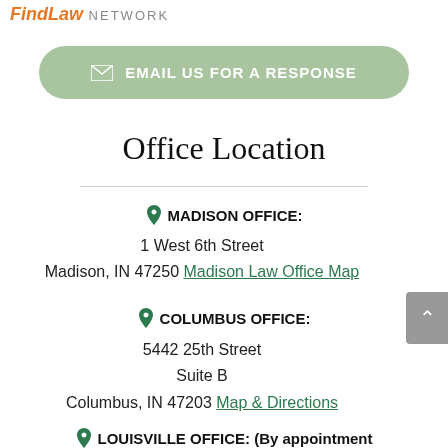FindLaw. NETWORK
[Figure (other): Green rounded button labeled EMAIL US FOR A RESPONSE with envelope icon]
Office Location
MADISON OFFICE:
1 West 6th Street
Madison, IN 47250 Madison Law Office Map
COLUMBUS OFFICE:
5442 25th Street
Suite B
Columbus, IN 47203 Map & Directions
LOUISVILLE OFFICE: (By appointment